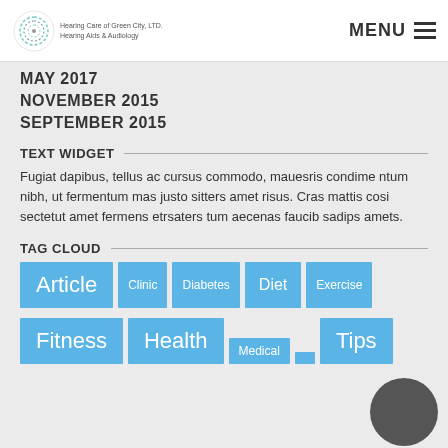Hearing Care of Green City, LTD. Hearing Aids & Audiology | MENU
MAY 2017
NOVEMBER 2015
SEPTEMBER 2015
TEXT WIDGET
Fugiat dapibus, tellus ac cursus commodo, mauesris condime ntum nibh, ut fermentum mas justo sitters amet risus. Cras mattis cosi sectetut amet fermens etrsaters tum aecenas faucib sadips amets.
TAG CLOUD
Article  Clinic  Diabetes  Diet  Exercise  Fitness  Health  Medical  ...  Tips